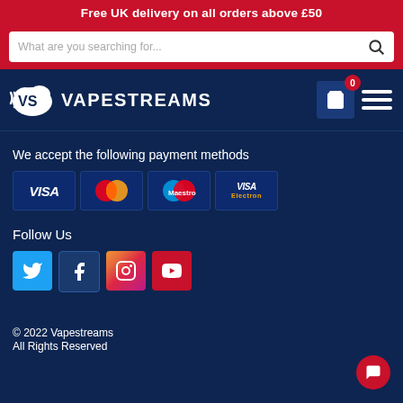Free UK delivery on all orders above £50
[Figure (screenshot): Search bar with placeholder text 'What are you searching for...' and a search icon]
[Figure (logo): Vapestreams logo with VS icon and VAPESTREAMS text, cart icon with 0 badge, and hamburger menu]
We accept the following payment methods
[Figure (infographic): Payment method icons: VISA, MasterCard, Maestro, VISA Electron]
Follow Us
[Figure (infographic): Social media icons: Twitter, Facebook, Instagram, YouTube]
© 2022 Vapestreams
All Rights Reserved